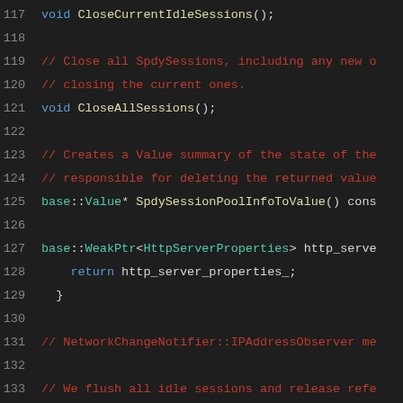[Figure (screenshot): Source code listing showing lines 117-137 of a C++ header file for SpdySessionPool, with line numbers in gray, keywords in blue, comments in red/dark red, and identifiers in teal/white on a dark background.]